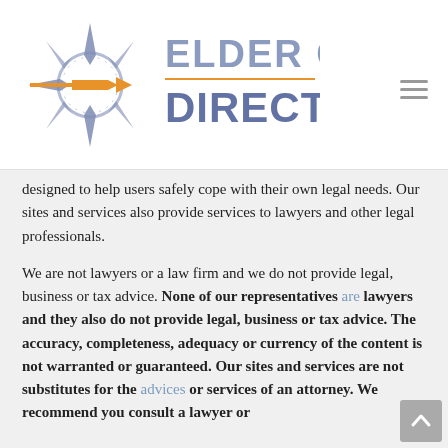[Figure (logo): Elder Care Direction logo with compass rose graphic in blue and orange, text 'ELDER CARE DIRECTION' in blue/gray]
designed to help users safely cope with their own legal needs. Our sites and services also provide services to lawyers and other legal professionals.
We are not lawyers or a law firm and we do not provide legal, business or tax advice. None of our representatives are lawyers and they also do not provide legal, business or tax advice. The accuracy, completeness, adequacy or currency of the content is not warranted or guaranteed. Our sites and services are not substitutes for the advices or services of an attorney. We recommend you consult a lawyer or